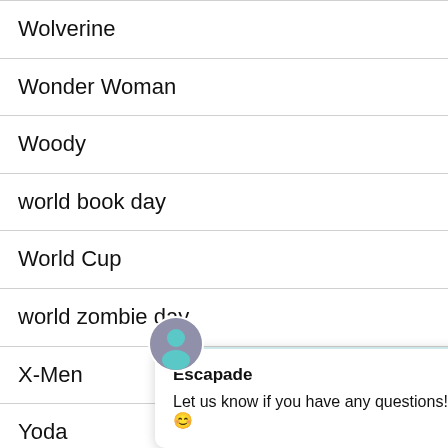Wolverine
Wonder Woman
Woody
world book day
World Cup
world zombie day
X-Men
Yoda
Zombie
Escapade
Let us know if you have any questions! 😊